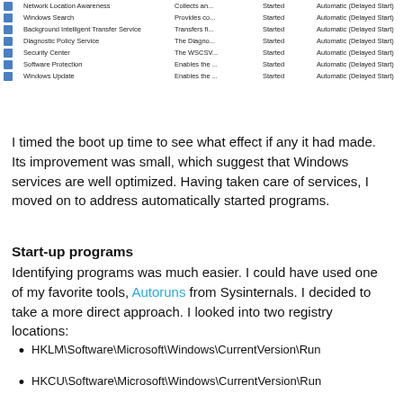[Figure (screenshot): Windows Services list showing Network Location Awareness, Windows Search, Background Intelligent Transfer Service, Diagnostic Policy Service, Security Center, Software Protection, and Windows Update — all Started with Automatic (Delayed Start) startup type.]
I timed the boot up time to see what effect if any it had made. Its improvement was small, which suggest that Windows services are well optimized. Having taken care of services, I moved on to address automatically started programs.
Start-up programs
Identifying programs was much easier. I could have used one of my favorite tools, Autoruns from Sysinternals. I decided to take a more direct approach. I looked into two registry locations:
HKLM\Software\Microsoft\Windows\CurrentVersion\Run
HKCU\Software\Microsoft\Windows\CurrentVersion\Run